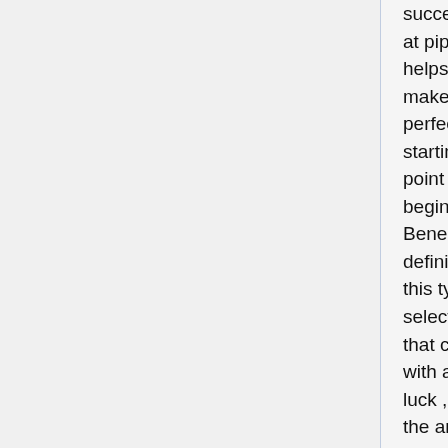successful at pipes helps to make the perfect starting point for a beginner. Beneath is definitely this type of selection that can with any luck , assist the anxious amateur into gradually learning to be a master in terms of plumbing related.
Steer clear of frozen water lines this winter months! Have a small drip of water leaking from taps, and wrap your uninsulated plumbing with foam or newspaper. If at all possible, Plombier retain the entry doors open in between unheated and heated spaces. Within an unheated area for Plomberie instance a car port or laundry washing room, keep a modest water heater next to the water lines. Recall to accomplish this ahead of the cold hits.